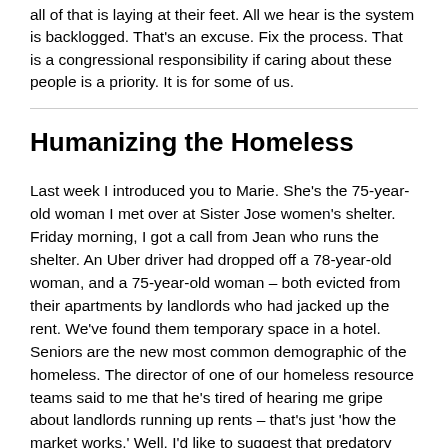all of that is laying at their feet. All we hear is the system is backlogged. That's an excuse. Fix the process. That is a congressional responsibility if caring about these people is a priority. It is for some of us.
Humanizing the Homeless
Last week I introduced you to Marie. She's the 75-year-old woman I met over at Sister Jose women's shelter. Friday morning, I got a call from Jean who runs the shelter. An Uber driver had dropped off a 78-year-old woman, and a 75-year-old woman – both evicted from their apartments by landlords who had jacked up the rent. We've found them temporary space in a hotel. Seniors are the new most common demographic of the homeless. The director of one of our homeless resource teams said to me that he's tired of hearing me gripe about landlords running up rents – that's just 'how the market works.' Well, I'd like to suggest that predatory capitalism led to lots of changes in 'the market.' One is labor unions. Sadly, people like Marie, and